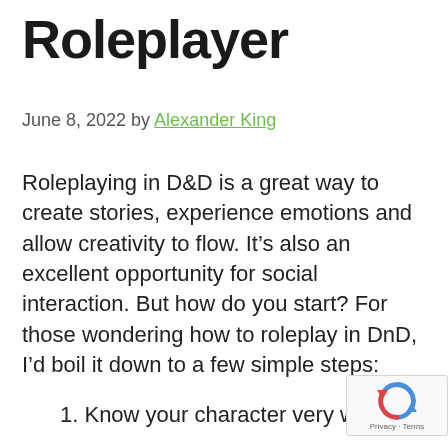Roleplayer
June 8, 2022 by Alexander King
Roleplaying in D&D is a great way to create stories, experience emotions and allow creativity to flow. It’s also an excellent opportunity for social interaction. But how do you start? For those wondering how to roleplay in DnD, I’d boil it down to a few simple steps:
1. Know your character very we...